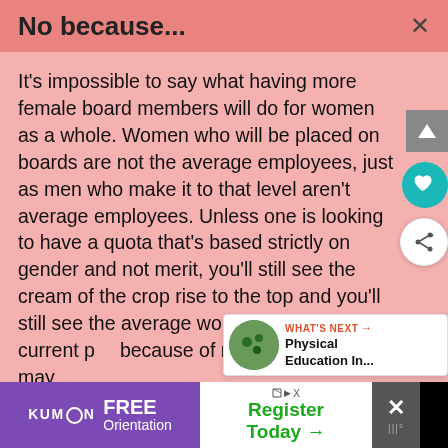No because...
It’s impossible to say what having more female board members will do for women as a whole. Women who will be placed on boards are not the average employees, just as men who make it to that level aren’t average employees. Unless one is looking to have a quota that’s based strictly on gender and not merit, you’ll still see the cream of the crop rise to the top and you’ll still see the average worker stuck in their current po[sition] because of multiple factors that may
WHAT’S NEXT → Physical Education In...
[Figure (infographic): Advertisement banner: Kumon FREE Orientation (purple background) and Register Today arrow (white/green text) with close button]
KUMON FREE Orientation | Register Today →